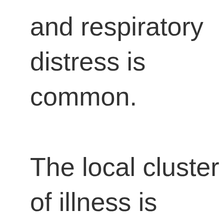and respiratory distress is common. The local cluster of illness is controversial